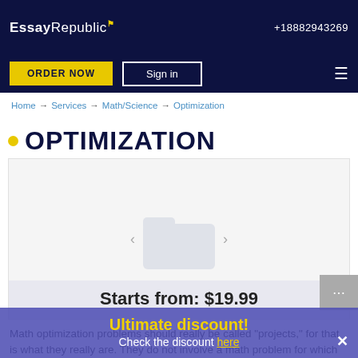EssayRepublic +18882943269
ORDER NOW | Sign in
Home → Services → Math/Science → Optimization
OPTIMIZATION
[Figure (other): Image placeholder with folder icon and navigation arrows, with price bar showing 'Starts from: $19.99']
Starts from: $19.99
Math optimization problems should really be called "projects," for that is what they really are. They do not involve a math problem for which there is a single solution or method of arriving at a single solution. No, they involve finding multiple
Ultimate discount! Check the discount here